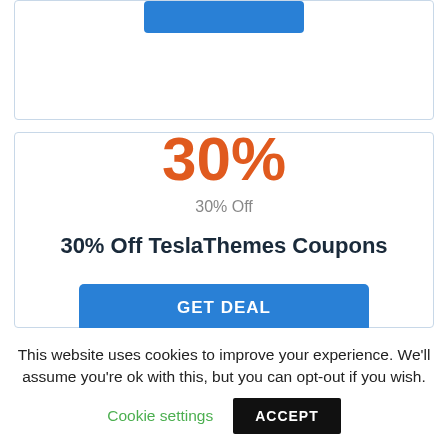[Figure (other): Top card with a blue button partially visible at the top]
30%
30% Off
30% Off TeslaThemes Coupons
GET DEAL
This website uses cookies to improve your experience. We'll assume you're ok with this, but you can opt-out if you wish.
Cookie settings
ACCEPT